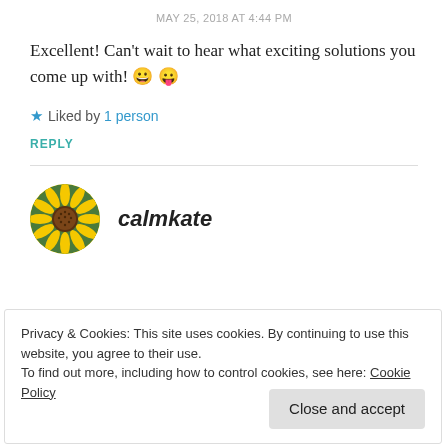MAY 25, 2018 AT 4:44 PM
Excellent! Can't wait to hear what exciting solutions you come up with! 😀 😛
★ Liked by 1 person
REPLY
[Figure (photo): Circular avatar photo of a sunflower]
calmkate
Privacy & Cookies: This site uses cookies. By continuing to use this website, you agree to their use. To find out more, including how to control cookies, see here: Cookie Policy